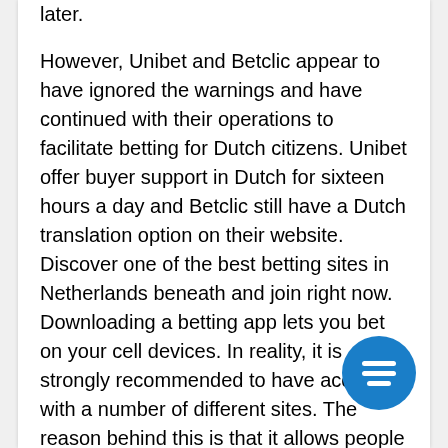betting things feasible a couple of months later.
However, Unibet and Betclic appear to have ignored the warnings and have continued with their operations to facilitate betting for Dutch citizens. Unibet offer buyer support in Dutch for sixteen hours a day and Betclic still have a Dutch translation option on their website. Discover one of the best betting sites in Netherlands beneath and join right now. Downloading a betting app lets you bet on your cell devices. In reality, it is strongly recommended to have accounts with a number of different sites. The reason behind this is that it allows people to buy around for the most effective out there odds for his or her chosen wager.
For example NJ sports betting sites or